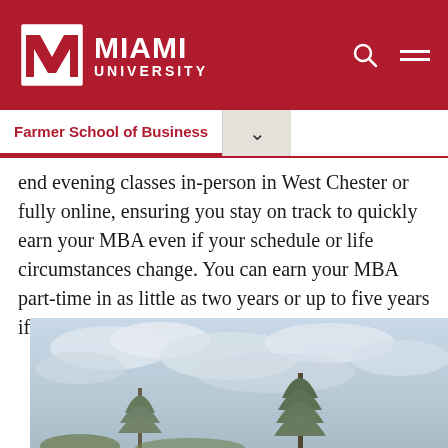Miami University — Farmer School of Business
end evening classes in-person in West Chester or fully online, ensuring you stay on track to quickly earn your MBA even if your schedule or life circumstances change. You can earn your MBA part-time in as little as two years or up to five years if you need more time.
[Figure (photo): Outdoor photo showing trees and a cloudy sky, likely on or near Miami University campus]